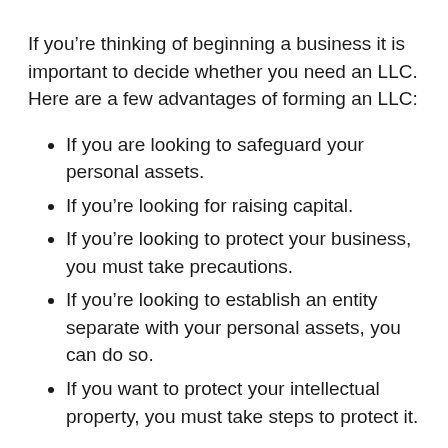If you're thinking of beginning a business it is important to decide whether you need an LLC. Here are a few advantages of forming an LLC:
If you are looking to safeguard your personal assets.
If you're looking for raising capital.
If you're looking to protect your business, you must take precautions.
If you're looking to establish an entity separate with your personal assets, you can do so.
If you want to protect your intellectual property, you must take steps to protect it.